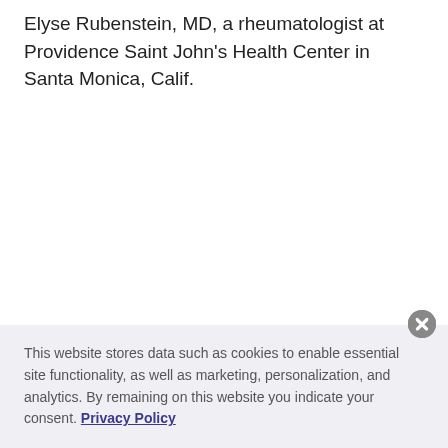Elyse Rubenstein, MD, a rheumatologist at Providence Saint John's Health Center in Santa Monica, Calif.
[Figure (other): Advertisement placeholder with grey blob/molecule pattern background inside a bordered box, labeled ADVERTISEMENT in a black bar above.]
This website stores data such as cookies to enable essential site functionality, as well as marketing, personalization, and analytics. By remaining on this website you indicate your consent. Privacy Policy